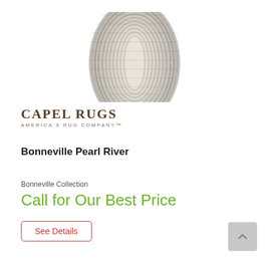[Figure (photo): Oval braided rug in light gray/pearl river color with concentric oval stripe pattern, shown from above, cropped at top]
[Figure (logo): Capel Rugs logo — stylized text reading CAPEL RUGS with tagline AMERICA'S RUG COMPANY below]
Bonneville Pearl River
Bonneville Collection
Call for Our Best Price
See Details